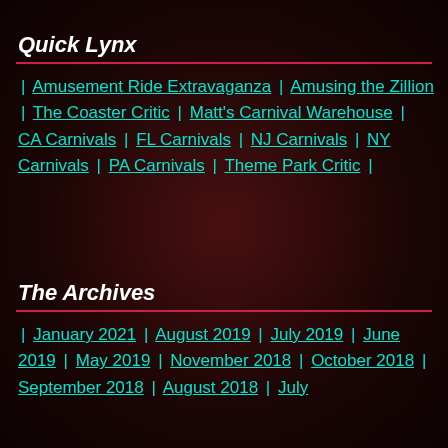Quick Lynx
Amusement Ride Extravaganza | Amusing the Zillion | The Coaster Critic | Matt's Carnival Warehouse | CA Carnivals | FL Carnivals | NJ Carnivals | NY Carnivals | PA Carnivals | Theme Park Critic
The Archives
January 2021 | August 2019 | July 2019 | June 2019 | May 2019 | November 2018 | October 2018 | September 2018 | August 2018 | July